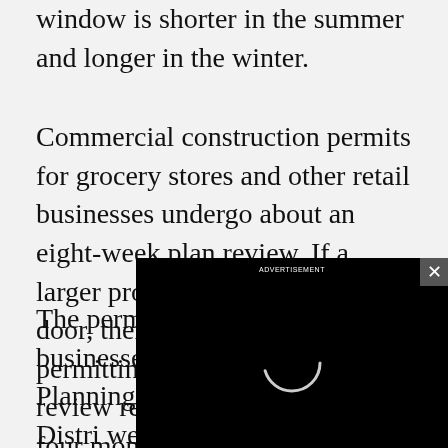window is shorter in the summer and longer in the winter.
Commercial construction permits for grocery stores and other retail businesses undergo about an eight-week plan review. If a larger project came through the door, there would be land use permitting or environmental review requiring about three to four months just for those aspects.
[Figure (other): A black video player overlay showing a loading spinner circle in the center, with a small text label at the top and an X close button in the top-right corner.]
The permit process for businesses is comp Planning/Building District, Fire Distri weigh in. Items lik